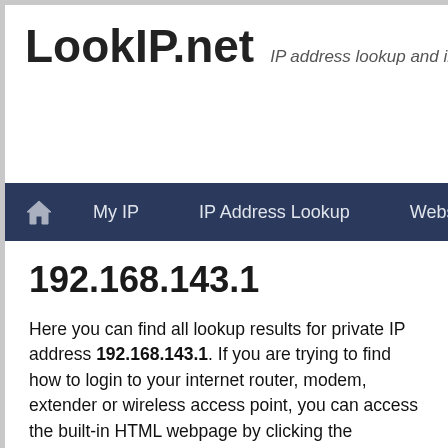LookIP.net — IP address lookup and information too
Home  My IP  IP Address Lookup  Website Lookup
192.168.143.1
Here you can find all lookup results for private IP address 192.168.143.1. If you are trying to find how to login to your internet router, modem, extender or wireless access point, you can access the built-in HTML webpage by clicking the following link for http or https.
The most used default username and password to gain access to the administrative interface is 'admin' or 'setup' and in case of a TP Link, Netgear or D-Link wireless (or Wi-Fi) router you can also find the default settings on the back of the device. If